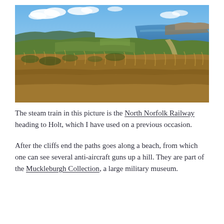[Figure (photo): Aerial coastal landscape photo showing rolling green golf course or grassland cliffs with sandy/dry grass in the foreground, the sea visible on the right side, cliffs in the distance, and a blue sky with clouds above.]
The steam train in this picture is the North Norfolk Railway heading to Holt, which I have used on a previous occasion.
After the cliffs end the paths goes along a beach, from which one can see several anti-aircraft guns up a hill. They are part of the Muckleburgh Collection, a large military museum.